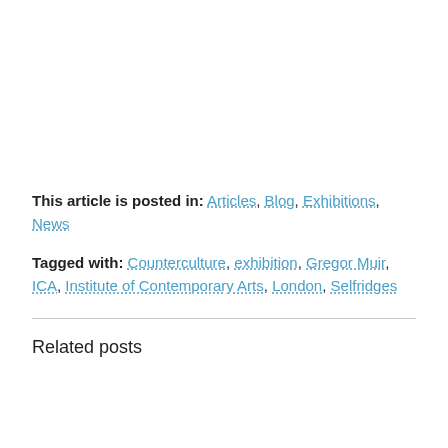This article is posted in: Articles, Blog, Exhibitions, News
Tagged with: Counterculture, exhibition, Gregor Muir, ICA, Institute of Contemporary Arts, London, Selfridges
Related posts